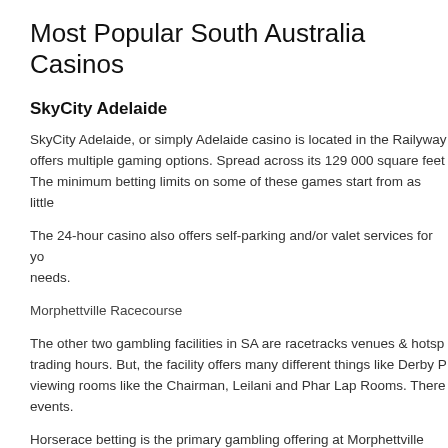Most Popular South Australia Casinos
SkyCity Adelaide
SkyCity Adelaide, or simply Adelaide casino is located in the Railyway... offers multiple gaming options. Spread across its 129 000 square feet... The minimum betting limits on some of these games start from as little...
The 24-hour casino also offers self-parking and/or valet services for yo... needs.
Morphettville Racecourse
The other two gambling facilities in SA are racetracks venues & hotsp... trading hours. But, the facility offers many different things like Derby P... viewing rooms like the Chairman, Leilani and Phar Lap Rooms. There... events.
Horserace betting is the primary gambling offering at Morphettville Ra... rooms. No other casino games are currently offered.
Oakbank Racecourse